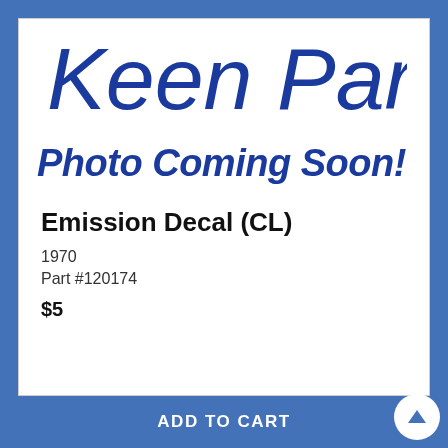[Figure (logo): Keen Parts cursive script logo in blue]
[Figure (illustration): Photo Coming Soon! text in bold italic blue on white background]
Emission Decal (CL)
1970
Part #120174
$5
ADD TO CART